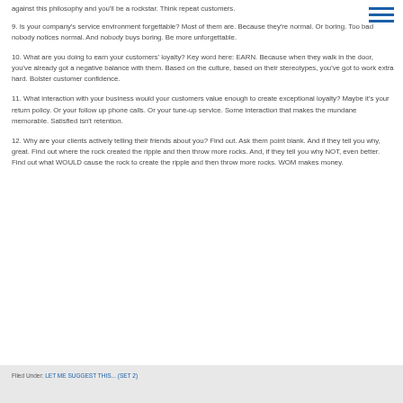against this philosophy and you'll be a rockstar. Think repeat customers.
9. Is your company's service environment forgettable? Most of them are. Because they're normal. Or boring. Too bad nobody notices normal. And nobody buys boring. Be more unforgettable.
10. What are you doing to earn your customers' loyalty? Key word here: EARN. Because when they walk in the door, you've already got a negative balance with them. Based on the culture, based on their stereotypes, you've got to work extra hard. Bolster customer confidence.
11. What interaction with your business would your customers value enough to create exceptional loyalty? Maybe it's your return policy. Or your follow up phone calls. Or your tune-up service. Some interaction that makes the mundane memorable. Satisfied isn't retention.
12. Why are your clients actively telling their friends about you? Find out. Ask them point blank. And if they tell you why, great. Find out where the rock created the ripple and then throw more rocks. And, if they tell you why NOT, even better. Find out what WOULD cause the rock to create the ripple and then throw more rocks. WOM makes money.
Filed Under: LET ME SUGGEST THIS... (Set 2)